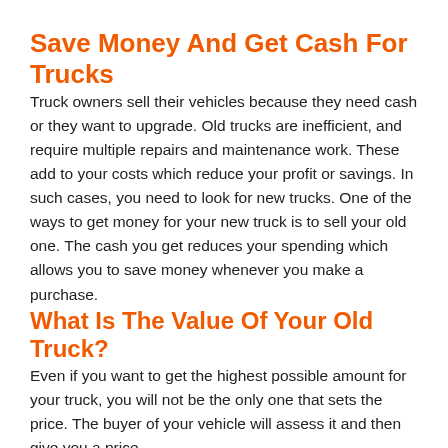Save Money And Get Cash For Trucks
Truck owners sell their vehicles because they need cash or they want to upgrade. Old trucks are inefficient, and require multiple repairs and maintenance work. These add to your costs which reduce your profit or savings. In such cases, you need to look for new trucks. One of the ways to get money for your new truck is to sell your old one. The cash you get reduces your spending which allows you to save money whenever you make a purchase.
What Is The Value Of Your Old Truck?
Even if you want to get the highest possible amount for your truck, you will not be the only one that sets the price. The buyer of your vehicle will assess it and then give you a price.